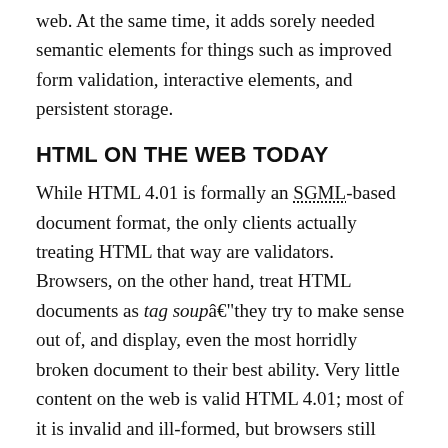web. At the same time, it adds sorely needed semantic elements for things such as improved form validation, interactive elements, and persistent storage.
HTML ON THE WEB TODAY
While HTML 4.01 is formally an SGML-based document format, the only clients actually treating HTML that way are validators. Browsers, on the other hand, treat HTML documents as tag soupâthey try to make sense out of, and display, even the most horridly broken document to their best ability. Very little content on the web is valid HTML 4.01; most of it is invalid and ill-formed, but browsers still have to parse it, or they will soon be disregarded as users switch to browsers that support their favorite sites.
Tag soup handlingâtrying to correct errors in